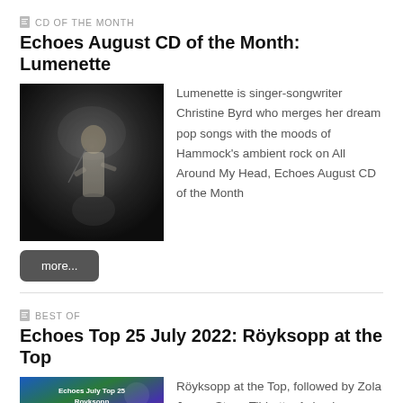CD OF THE MONTH
Echoes August CD of the Month: Lumenette
[Figure (photo): Dark moody black and white photo of a person for Lumenette album cover]
Lumenette is singer-songwriter Christine Byrd who merges her dream pop songs with the moods of Hammock’s ambient rock on All Around My Head, Echoes August CD of the Month
more...
BEST OF
Echoes Top 25 July 2022: Röyksopp at the Top
[Figure (photo): Echoes July Top 25 Royksopp promotional image with colorful background]
Röyksopp at the Top, followed by Zola Jesus, Steve Tibbetts, Animalweapon,